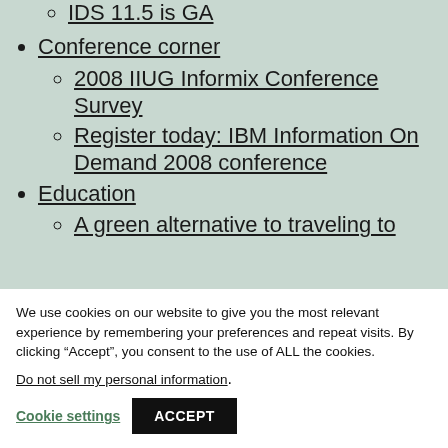IDS 11.5 is GA
Conference corner
2008 IIUG Informix Conference Survey
Register today: IBM Information On Demand 2008 conference
Education
A green alternative to traveling to
We use cookies on our website to give you the most relevant experience by remembering your preferences and repeat visits. By clicking “Accept”, you consent to the use of ALL the cookies.
Do not sell my personal information.